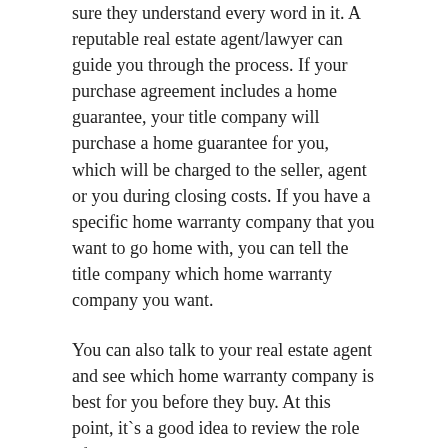sure they understand every word in it. A reputable real estate agent/lawyer can guide you through the process. If your purchase agreement includes a home guarantee, your title company will purchase a home guarantee for you, which will be charged to the seller, agent or you during closing costs. If you have a specific home warranty company that you want to go home with, you can tell the title company which home warranty company you want.
You can also talk to your real estate agent and see which home warranty company is best for you before they buy. At this point, it`s a good idea to review the role of the real estate lawyer in the process. Whether you`re working with your own lawyer or a lawyer hired by your lender, they`ll review the P&S and help you negotiate the best terms on your behalf. If a standard buy and sell form is used, your lawyer should make some adjustments. As part of signing the P&S, you will deposit at least part of your deposit. This commits you more to buying, but there are still contingencies that protect your money. Condominiums have